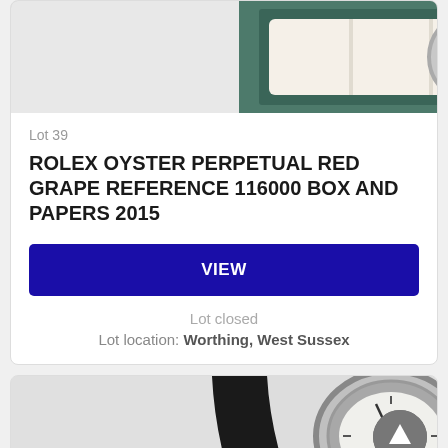[Figure (photo): Photo of a Rolex watch in a box, partially cropped at top]
Lot 39
ROLEX OYSTER PERPETUAL RED GRAPE REFERENCE 116000 BOX AND PAPERS 2015
VIEW
Lot closed
Lot location: Worthing, West Sussex
[Figure (photo): Photo of a vintage watch with white dial and black leather strap]